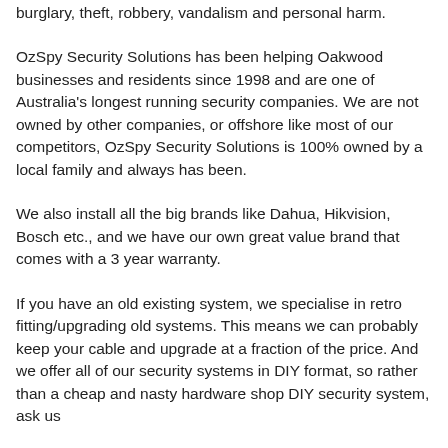burglary, theft, robbery, vandalism and personal harm.
OzSpy Security Solutions has been helping Oakwood businesses and residents since 1998 and are one of Australia's longest running security companies. We are not owned by other companies, or offshore like most of our competitors, OzSpy Security Solutions is 100% owned by a local family and always has been.
We also install all the big brands like Dahua, Hikvision, Bosch etc., and we have our own great value brand that comes with a 3 year warranty.
If you have an old existing system, we specialise in retro fitting/upgrading old systems. This means we can probably keep your cable and upgrade at a fraction of the price. And we offer all of our security systems in DIY format, so rather than a cheap and nasty hardware shop DIY security system, ask us about our superior brand system.